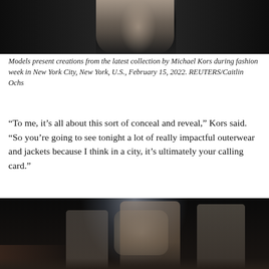[Figure (photo): Top portion of a fashion show photo showing models on a runway at Michael Kors show, dark background with dramatic lighting, faces and upper bodies visible]
Models present creations from the latest collection by Michael Kors during fashion week in New York City, New York, U.S., February 15, 2022. REUTERS/Caitlin Ochs
“To me, it’s all about this sort of conceal and reveal,” Kors said. “So you’re going to see tonight a lot of really impactful outerwear and jackets because I think in a city, it’s ultimately your calling card.”
[Figure (photo): Fashion show runway photo at Michael Kors show, models walking down runway wearing outerwear including a prominent fur coat, dramatic spotlight lighting from above, dark audience visible on left, taken February 15 2022 during New York Fashion Week]